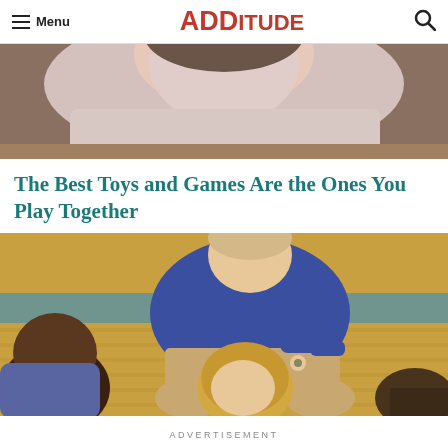Menu | ADDitude | [search]
[Figure (photo): Child looking down, partial view from above, wearing a light pink/lavender top, cropped — top hero image]
The Best Toys and Games Are the Ones You Play Together
[Figure (photo): An adult in a blue shirt sits on a gym floor with two children, handing something to a child with blonde hair. Wooden gym floor with blue stripe visible in background.]
ADVERTISEMENT